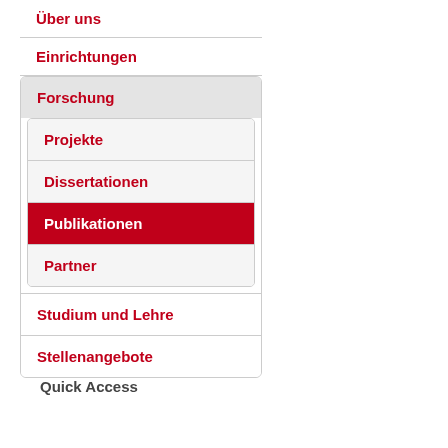Über uns
Einrichtungen
Forschung
Projekte
Dissertationen
Publikationen
Partner
Studium und Lehre
Stellenangebote
Quick Access